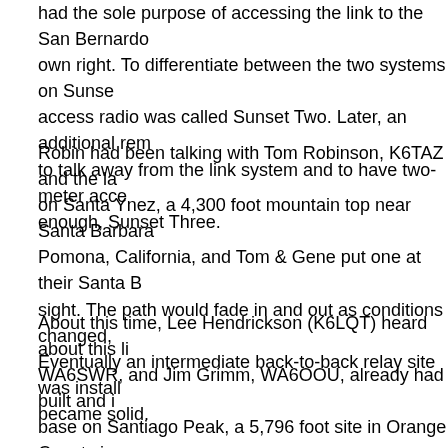had the sole purpose of accessing the link to the San Bernardo own right. To differentiate between the two systems on Sunse access radio was called Sunset Two. Later, an additional rem to talk away from the link system and to have two-meter acce enough, Sunset Three.
Robin had been talking with Tom Robinson, K6TAZ and the la on Santa Ynez, a 4,300 foot mountain top near Santa Barbara Pomona, California, and Tom & Gene put one at their Santa B sight. The path would fade in and out as conditions changed, Eventually an intermediate back-to-back relay site was install became solid.
About this time, Lee Hendrickson (K6LQT) heard about this li WA6SWR, and Jim Grimm, WA6OOU, already had built and i base on Santiago Peak, a 5,796 foot site in Orange County in telephone Stroeger switch (10 by 10 stepper switch). Around reconfiguration as a 440 repeater prior to being moved to the Verdes Peninsula. A 420 link to Jim's house in Manhattan Bea was necessary to completely redesign it (again!) and build a r